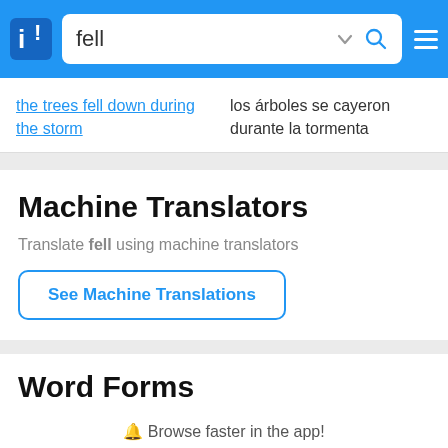fell
the trees fell down during the storm	los árboles se cayeron durante la tormenta
Machine Translators
Translate fell using machine translators
See Machine Translations
Word Forms
🔔 Browse faster in the app!